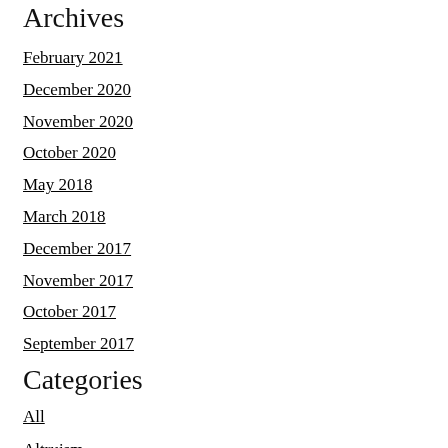Archives
February 2021
December 2020
November 2020
October 2020
May 2018
March 2018
December 2017
November 2017
October 2017
September 2017
Categories
All
Altruism
Courage
Media Appearances
Spiritual Writings
Story Of My Life